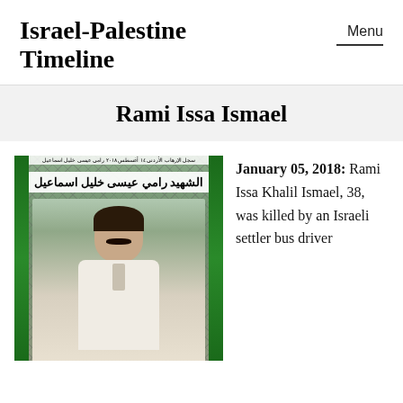Israel-Palestine Timeline
Rami Issa Ismael
[Figure (photo): Memorial poster photo of Rami Issa Khalil Ismael with Arabic text reading 'Al-Shahid Rami Issa Khalil Ismael' on a banner with green stripes]
January 05, 2018: Rami Issa Khalil Ismael, 38, was killed by an Israeli settler bus driver